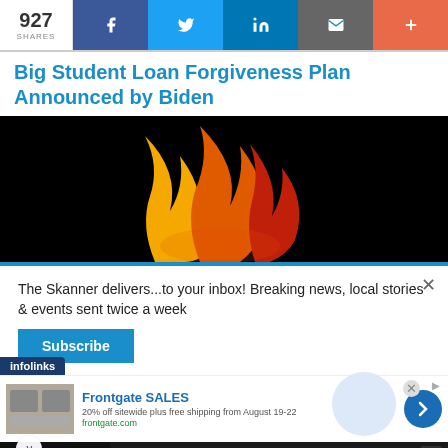927 SHARES | Facebook | Twitter | LinkedIn | Email | More
Big Student Loan Forgiveness Plan Announced by Biden
[Figure (illustration): Black background with orange, yellow, and red flame-like graphic shapes]
The Skanner delivers...to your inbox! Breaking news, local stories & events sent twice a week
Subscribe
infolinks
Frontgate SALES
20% off sitewide plus free shipping from August 19-22
frontgate.com
[Figure (photo): Advertisement: Abogada Valentina Oronsaye, Omosede Valentina Asistente Legal, Llámenos al: 713-334-7200]